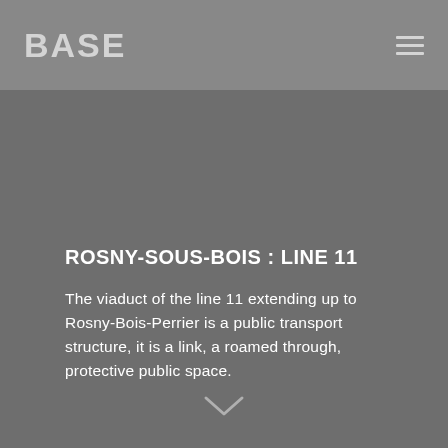BASE
ROSNY-SOUS-BOIS : LINE 11
The viaduct of the line 11 extending up to Rosny-Bois-Perrier is a public transport structure, it is a link, a roamed through, protective public space.
[Figure (illustration): Chevron/arrow pointing downward, in light gray, indicating scroll down]